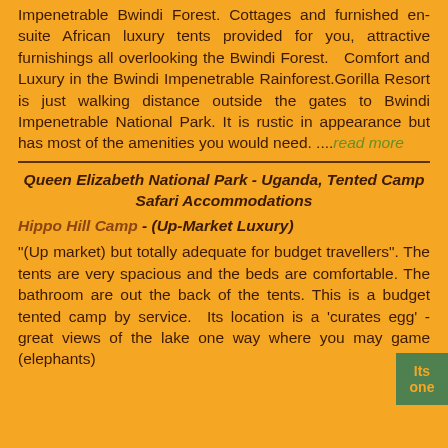Impenetrable Bwindi Forest. Cottages and furnished en-suite African luxury tents provided for you, attractive furnishings all overlooking the Bwindi Forest. Comfort and Luxury in the Bwindi Impenetrable Rainforest.Gorilla Resort is just walking distance outside the gates to Bwindi Impenetrable National Park. It is rustic in appearance but has most of the amenities you would need. ....read more
Queen Elizabeth National Park - Uganda, Tented Camp Safari Accommodations
Hippo Hill Camp - (Up-Market Luxury)
"(Up market) but totally adequate for budget travellers". The tents are very spacious and the beds are comfortable. The bathroom are out the back of the tents. This is a budget tented camp by service. Its location is a 'curates egg' - great views of the lake one way where you may game (elephants) and...